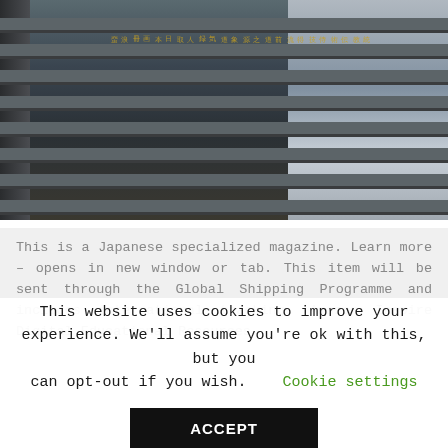[Figure (photo): Architectural photo showing shelving or bleacher-like horizontal structures with a dark left frame, and golden Japanese text overlaid in vertical columns in the center. Right side shows a lighter section with grid-like window or ventilation elements.]
This is a Japanese specialized magazine. Learn more – opens in new window or tab. This item will be sent through the Global Shipping Programme and includes international tracking. Amazon Inspire Digital Educational Resources...
This website uses cookies to improve your experience. We'll assume you're ok with this, but you can opt-out if you wish.  Cookie settings
ACCEPT